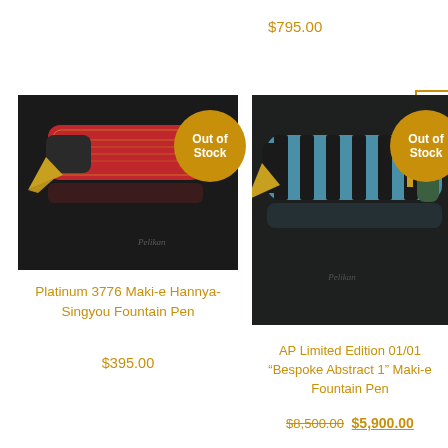$795.00
[Figure (photo): Platinum 3776 Maki-e Hannya-Singyou Fountain Pen with red lacquer barrel and gold calligraphy, gold nib visible, on dark reflective surface. 'Out of Stock' badge overlaid.]
Platinum 3776 Maki-e Hannya-Singyou Fountain Pen
$395.00
[Figure (photo): AP Limited Edition 01/01 Bespoke Abstract 1 Maki-e Fountain Pen with blue and black striped barrel, gold nib, on dark reflective surface. 'Out of Stock' badge overlaid.]
AP Limited Edition 01/01 “Bespoke Abstract 1” Maki-e Fountain Pen
$8,500.00 $5,900.00